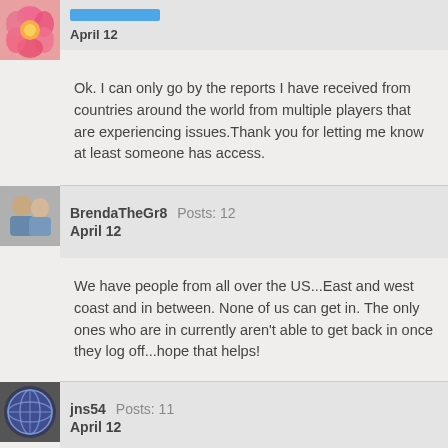[Figure (photo): Flower avatar (top partial post)]
April 12
Ok. I can only go by the reports I have received from countries around the world from multiple players that are experiencing issues.Thank you for letting me know at least someone has access.
[Figure (photo): BrendaTheGr8 profile photo - two people]
BrendaTheGr8  Posts: 12
April 12
We have people from all over the US...East and west coast and in between. None of us can get in. The only ones who are in currently aren't able to get back in once they log off...hope that helps!
[Figure (illustration): jns54 avatar - globe/circle icon]
jns54  Posts: 11
April 12